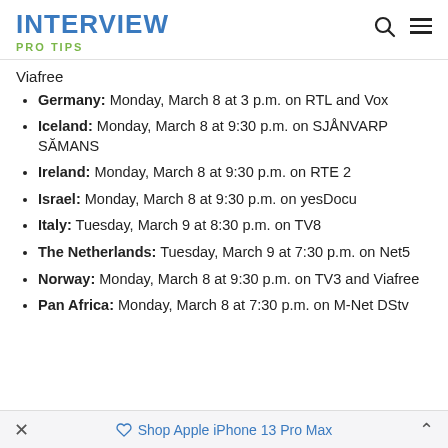INTERVIEW PRO TIPS
Viafree
Germany: Monday, March 8 at 3 p.m. on RTL and Vox
Iceland: Monday, March 8 at 9:30 p.m. on SJÅNVARP SĂMANS
Ireland: Monday, March 8 at 9:30 p.m. on RTE 2
Israel: Monday, March 8 at 9:30 p.m. on yesDocu
Italy: Tuesday, March 9 at 8:30 p.m. on TV8
The Netherlands: Tuesday, March 9 at 7:30 p.m. on Net5
Norway: Monday, March 8 at 9:30 p.m. on TV3 and Viafree
Pan Africa: Monday, March 8 at 7:30 p.m. on M-Net DStv
Shop Apple iPhone 13 Pro Max